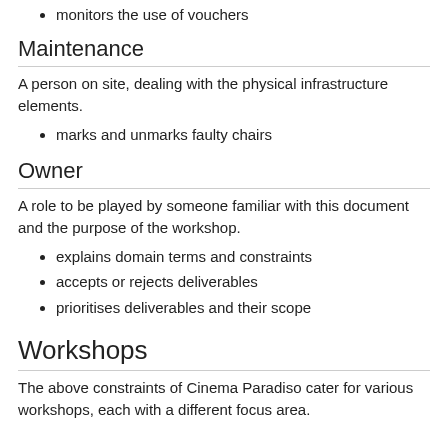monitors the use of vouchers
Maintenance
A person on site, dealing with the physical infrastructure elements.
marks and unmarks faulty chairs
Owner
A role to be played by someone familiar with this document and the purpose of the workshop.
explains domain terms and constraints
accepts or rejects deliverables
prioritises deliverables and their scope
Workshops
The above constraints of Cinema Paradiso cater for various workshops, each with a different focus area.